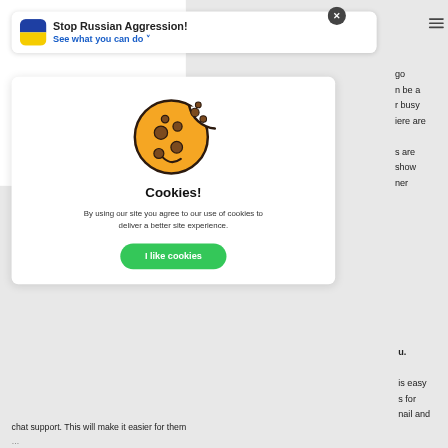[Figure (screenshot): A website screenshot showing a cookie consent modal dialog overlaid on a webpage. The top portion shows a banner with a Ukraine flag icon and text 'Stop Russian Aggression! See what you can do' with a close (X) button and hamburger menu. The modal contains a cookie illustration (orange cookie with bite taken out), the heading 'Cookies!', descriptive text about cookie usage, and a green 'I like cookies' button. Behind the modal, partial page text is visible on the right side. At the bottom, partially visible text reads 'chat support. This will make it easier for them'.]